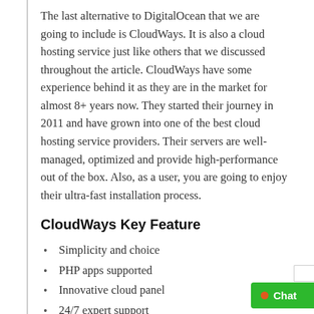The last alternative to DigitalOcean that we are going to include is CloudWays. It is also a cloud hosting service just like others that we discussed throughout the article. CloudWays have some experience behind it as they are in the market for almost 8+ years now. They started their journey in 2011 and have grown into one of the best cloud hosting service providers. Their servers are well-managed, optimized and provide high-performance out of the box. Also, as a user, you are going to enjoy their ultra-fast installation process.
CloudWays Key Feature
Simplicity and choice
PHP apps supported
Innovative cloud panel
24/7 expert support
Managed backups and security
Optimized stack
Advanced caching